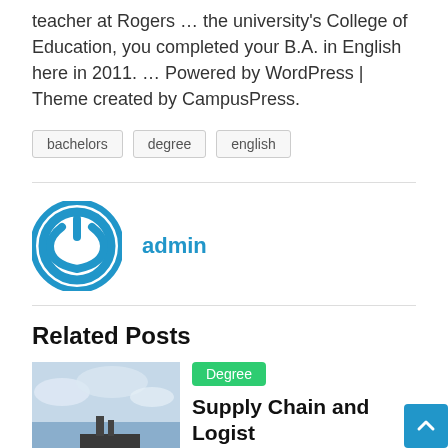teacher at Rogers … the university's College of Education, you completed your B.A. in English here in 2011. … Powered by WordPress | Theme created by CampusPress.
bachelors
degree
english
admin
Related Posts
Degree
Supply Chain and Logistics Degree Online